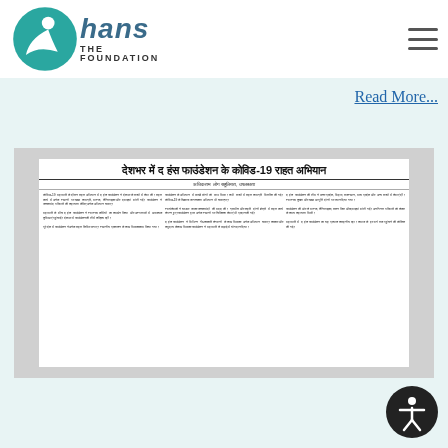[Figure (logo): The Hans Foundation logo — teal circular icon with a figure design, alongside text 'the hans FOUNDATION' in teal/dark styling]
Read More...
[Figure (photo): Newspaper clipping in Hindi with headline 'देशभर में द हंस फाउंडेशन के कोविड-19 राहत अभियान' — a news article about The Hans Foundation COVID-19 relief campaign across India, with multiple columns of Hindi text]
[Figure (illustration): Accessibility icon button — circular dark button with a person/wheelchair accessibility symbol in white]